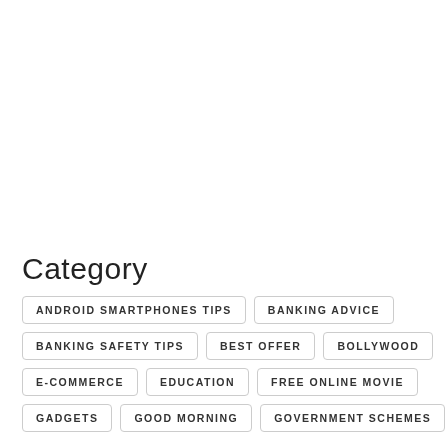Category
ANDROID SMARTPHONES TIPS
BANKING ADVICE
BANKING SAFETY TIPS
BEST OFFER
BOLLYWOOD
E-COMMERCE
EDUCATION
FREE ONLINE MOVIE
GADGETS
GOOD MORNING
GOVERNMENT SCHEMES